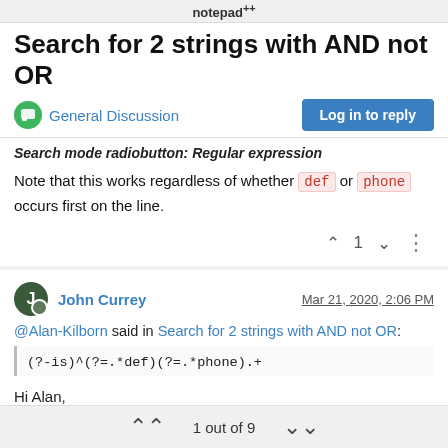notepad++
Search for 2 strings with AND not OR
General Discussion | Log in to reply
Search mode radiobutton: Regular expression
Note that this works regardless of whether def or phone occurs first on the line.
^ 1 v ...
John Currey  Mar 21, 2020, 2:06 PM
@Alan-Kilborn said in Search for 2 strings with AND not OR:
(?-is)^(?=.*def)(?=.*phone).+
Hi Alan,
Thanks for your response. I'm looking to search the entire content
1 out of 9